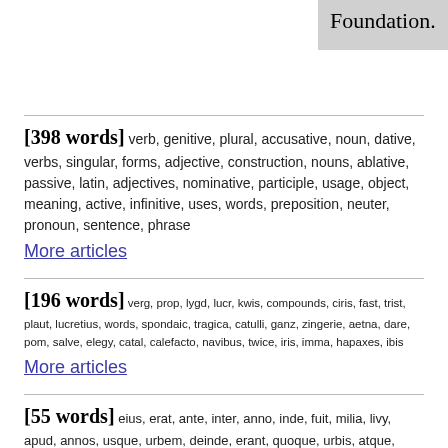Foundation.
[398 words] verb, genitive, plural, accusative, noun, dative, verbs, singular, forms, adjective, construction, nouns, ablative, passive, latin, adjectives, nominative, participle, usage, object, meaning, active, infinitive, uses, words, preposition, neuter, pronoun, sentence, phrase
More articles
[196 words] verg, prop, lygd, lucr, kwis, compounds, ciris, fast, trist, plaut, lucretius, words, spondaic, tragica, catulli, ganz, zingerie, aetna, dare, pom, salve, elegy, catal, calefacto, navibus, twice, iris, imma, hapaxes, ibis
More articles
[55 words] eius, erat, ante, inter, anno, inde, fuit, milia, livy, apud, annos, usque, urbem, deinde, erant, quoque, urbis, atque, dies, etiam, nunc, bellum, quem, autem, loco, romae, diem, castra, quia, quibus
More articles